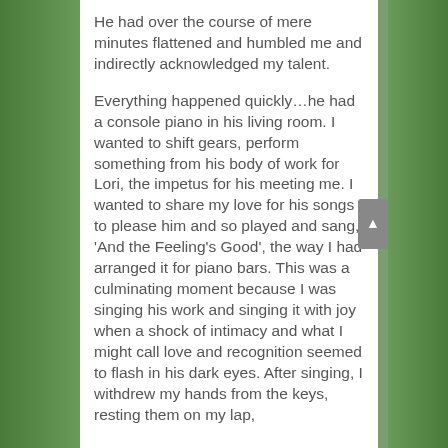He had over the course of mere minutes flattened and humbled me and indirectly acknowledged my talent.
Everything happened quickly…he had a console piano in his living room. I wanted to shift gears, perform something from his body of work for Lori, the impetus for his meeting me. I wanted to share my love for his songs to please him and so played and sang, 'And the Feeling's Good', the way I had arranged it for piano bars. This was a culminating moment because I was singing his work and singing it with joy when a shock of intimacy and what I might call love and recognition seemed to flash in his dark eyes. After singing, I withdrew my hands from the keys, resting them on my lap,